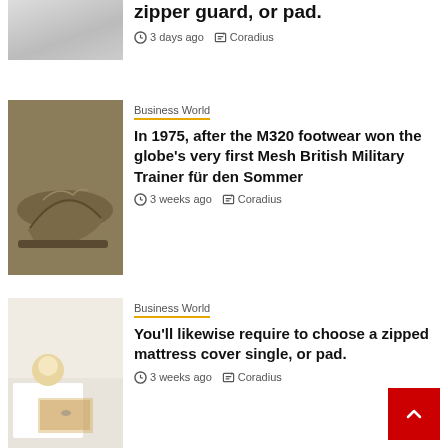[Figure (photo): Partial view of white/light colored clothing or bedding item]
zipper guard, or pad.
3 days ago   Coradius
Business World
[Figure (photo): Brown/olive canvas shoes or sneakers on a wooden surface]
In 1975, after the M320 footwear won the globe's very first Mesh British Military Trainer für den Sommer
3 weeks ago   Coradius
Business World
[Figure (photo): White bedding with a coffee cup, book and glasses]
You'll likewise require to choose a zipped mattress cover single, or pad.
3 weeks ago   Coradius